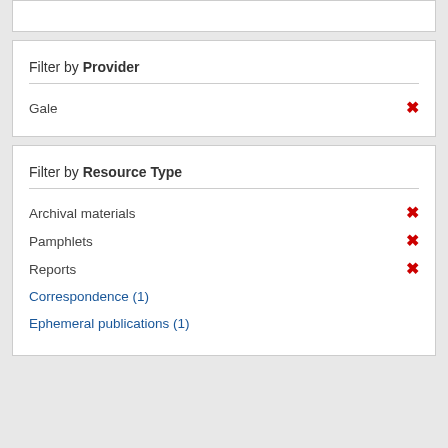Filter by Provider
Gale ×
Filter by Resource Type
Archival materials ×
Pamphlets ×
Reports ×
Correspondence (1)
Ephemeral publications (1)